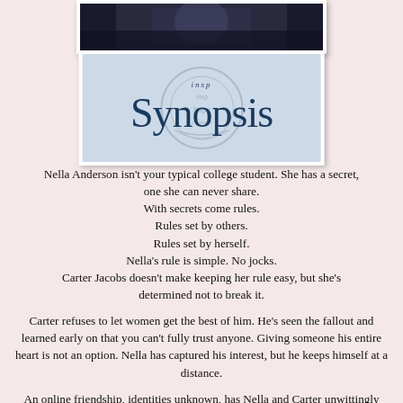[Figure (photo): Partial photo of a person, cropped at top of page, shown in dark clothing against a light background]
[Figure (logo): Synopsis header image with light blue background, circular watermark/logo in center, and large text reading 'Synopsis' in dark teal serif font with smaller decorative text above]
Nella Anderson isn't your typical college student. She has a secret, one she can never share.
With secrets come rules.
Rules set by others.
Rules set by herself.
Nella's rule is simple. No jocks.
Carter Jacobs doesn't make keeping her rule easy, but she's determined not to break it.
Carter refuses to let women get the best of him. He's seen the fallout and learned early on that you can't fully trust anyone. Giving someone his entire heart is not an option. Nella has captured his interest, but he keeps himself at a distance.

An online friendship, identities unknown, has Nella and Carter unwittingly trusting each other.